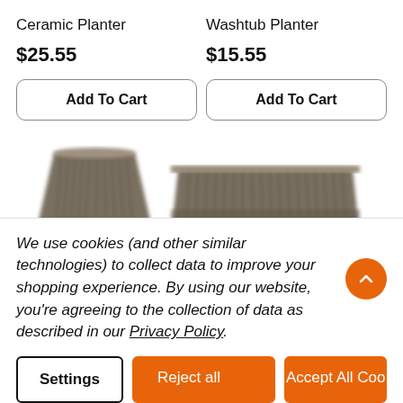Ceramic Planter
$25.55
Add To Cart
Washtub Planter
$15.55
Add To Cart
[Figure (photo): Ceramic planter product image - small ribbed gray/brown pot]
[Figure (photo): Washtub planter product image - wide woven/ribbed gray/brown planter]
We use cookies (and other similar technologies) to collect data to improve your shopping experience. By using our website, you’re agreeing to the collection of data as described in our Privacy Policy.
Settings
Reject all
Accept All Coo